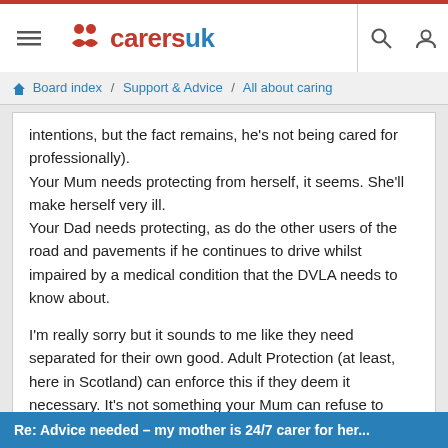carersuk — Board index / Support & Advice / All about caring
intentions, but the fact remains, he's not being cared for professionally).
Your Mum needs protecting from herself, it seems. She'll make herself very ill.
Your Dad needs protecting, as do the other users of the road and pavements if he continues to drive whilst impaired by a medical condition that the DVLA needs to know about.
I'm really sorry but it sounds to me like they need separated for their own good. Adult Protection (at least, here in Scotland) can enforce this if they deem it necessary. It's not something your Mum can refuse to cooperate with if the situation is deemed dangerous (and it sounds it).
Re: Advice needed – my mother is 24/7 carer for her...